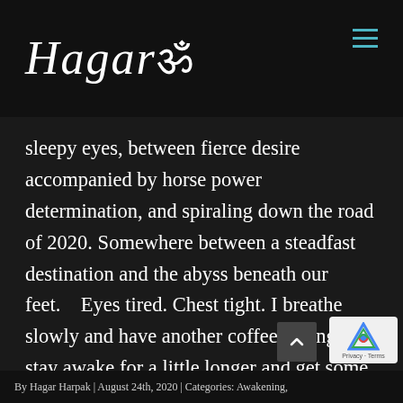Hagarom
sleepy eyes, between fierce desire accompanied by horse power determination, and spiraling down the road of 2020. Somewhere between a steadfast destination and the abyss beneath our feet.    Eyes tired. Chest tight. I breathe slowly and have another coffee, trying to stay awake for a little longer and get some work done. It’s not even the lack of sleep. I am usually an energy fireball. Give me coffee and I can move like |
By Hagar Harpak | August 24th, 2020 | Categories: Awakening,